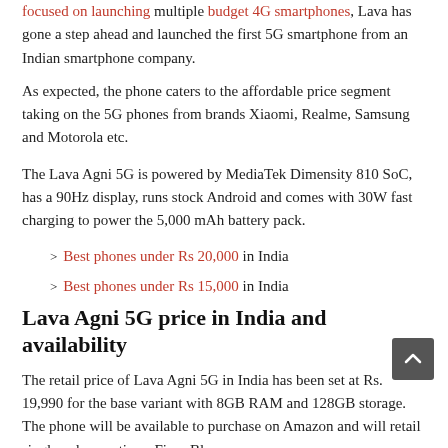focused on launching multiple budget 4G smartphones, Lava has gone a step ahead and launched the first 5G smartphone from an Indian smartphone company.
As expected, the phone caters to the affordable price segment taking on the 5G phones from brands Xiaomi, Realme, Samsung and Motorola etc.
The Lava Agni 5G is powered by MediaTek Dimensity 810 SoC, has a 90Hz display, runs stock Android and comes with 30W fast charging to power the 5,000 mAh battery pack.
Best phones under Rs 20,000 in India
Best phones under Rs 15,000 in India
Lava Agni 5G price in India and availability
The retail price of Lava Agni 5G in India has been set at Rs. 19,990 for the base variant with 8GB RAM and 128GB storage. The phone will be available to purchase on Amazon and will retail single colour option - Fiery Blue.
The phone can be pre-booked from Lava e-store for Rs. 500